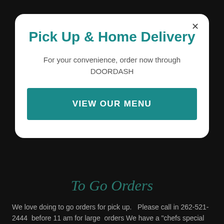Pick Up & Home Delivery
For your convenience, order now through DOORDASH
VIEW OUR MENU
To Go Orders
We love doing to go orders for pick up.  Please call in 262-521-2444 before 11 am for large orders We have a "chefs special of the day" & delicious homemade soups